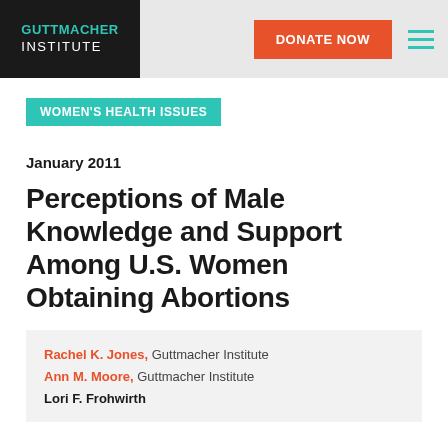GUTTMACHER INSTITUTE | DONATE NOW
WOMEN'S HEALTH ISSUES
January 2011
Perceptions of Male Knowledge and Support Among U.S. Women Obtaining Abortions
Rachel K. Jones, Guttmacher Institute
Ann M. Moore, Guttmacher Institute
Lori F. Frohwirth